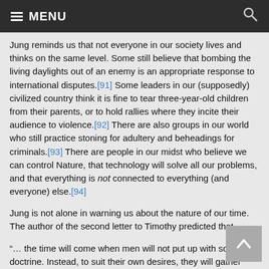MENU
Jung reminds us that not everyone in our society lives and thinks on the same level. Some still believe that bombing the living daylights out of an enemy is an appropriate response to international disputes.[91] Some leaders in our (supposedly) civilized country think it is fine to tear three-year-old children from their parents, or to hold rallies where they incite their audience to violence.[92] There are also groups in our world who still practice stoning for adultery and beheadings for criminals.[93] There are people in our midst who believe we can control Nature, that technology will solve all our problems, and that everything is not connected to everything (and everyone) else.[94]
Jung is not alone in warning us about the nature of our time. The author of the second letter to Timothy predicted that
“… the time will come when men will not put up with sound doctrine. Instead, to suit their own desires, they will gather around them a great number of teachers to say what their itching ears want to hear. They will turn their ears away from the truth and turn aside to myths.”[95]